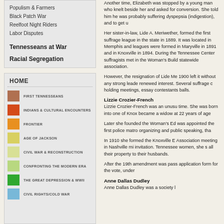Populism & Farmers
Black Patch War
Reelfoot Night Riders
Labor Disputes
Tennesseans at War
Racial Segregation
HOME
FIRST TENNESSEANS
INDIANS & CULTURAL ENCOUNTERS
FRONTIER
AGE OF JACKSON
CIVIL WAR & RECONSTRUCTION
CONFRONTING THE MODERN ERA
THE GREAT DEPRESSION & WWII
CIVIL RIGHTS/COLD WAR
Another time, Elizabeth was stopped by a young man who knelt beside her and asked for conversion. She told him he was probably suffering dyspepsia (indigestion), and to get up.
Her sister-in-law, Lide A. Meriwether, formed the first suffrage league in the state in 1889. It was located in Memphis and leagues were formed in Maryville in 1891 and in Knoxville in 1894. During the Tennessee Centennial of 1897, these suffragists met in the Woman's Building and organized a statewide association.
However, the resignation of Lide Meriwether around 1900 left it without any strong leadership until a renewed interest. Several suffrage clubs were then started, holding meetings, essay contestants, and suffrage balls.
Lizzie Crozier-French
Lizzie Crozier-French was an unusual woman for her time. She was born into one of Knox County's elite families, became a widow at 22 years of age.
Later she founded the Woman's Educational Club, was appointed the first police matron, and her skills in organizing and public speaking, that
In 1910 she formed the Knoxville Equal Suffrage Association meeting in Nashville mi invitation. Tennessee women, she s all their property to their husbands.
After the 19th amendment was passed and she filed an application form for the vote, under
Anne Dallas Dudley
Anne Dallas Dudley was a society l